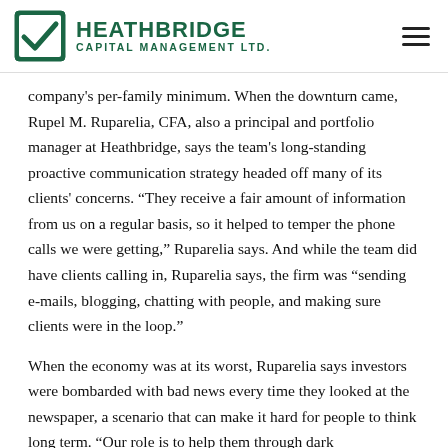HEATHBRIDGE CAPITAL MANAGEMENT LTD.
company's per-family minimum. When the downturn came, Rupel M. Ruparelia, CFA, also a principal and portfolio manager at Heathbridge, says the team's long-standing proactive communication strategy headed off many of its clients' concerns. “They receive a fair amount of information from us on a regular basis, so it helped to temper the phone calls we were getting,” Ruparelia says. And while the team did have clients calling in, Ruparelia says, the firm was “sending e-mails, blogging, chatting with people, and making sure clients were in the loop.”
When the economy was at its worst, Ruparelia says investors were bombarded with bad news every time they looked at the newspaper, a scenario that can make it hard for people to think long term. “Our role is to help them through dark